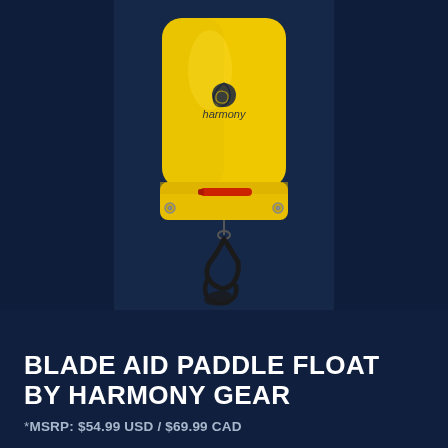[Figure (photo): A yellow inflatable paddle float (Blade Aid Paddle Float) by Harmony Gear, shown against a dark navy background. The float is a bright yellow rectangular inflatable bag with the 'harmony' brand logo printed on it. At the bottom of the float is a red inflation tube/valve and two metal grommets. A black wrist strap/leash hangs from the bottom.]
BLADE AID PADDLE FLOAT BY HARMONY GEAR
*MSRP: $54.99 USD / $69.99 CAD